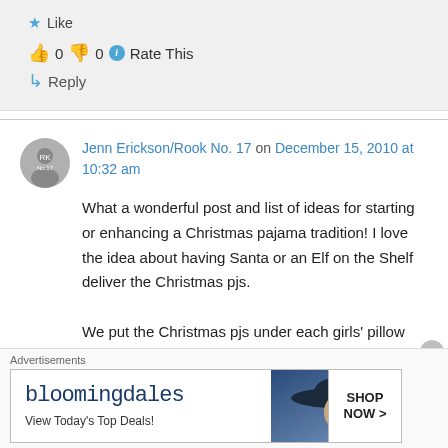★ Like
👍 0 👎 0 ℹ Rate This
↳ Reply
Jenn Erickson/Rook No. 17 on December 15, 2010 at 10:32 am
What a wonderful post and list of ideas for starting or enhancing a Christmas pajama tradition! I love the idea about having Santa or an Elf on the Shelf deliver the Christmas pjs.
We put the Christmas pjs under each girls' pillow
Advertisements
[Figure (screenshot): Bloomingdale's advertisement banner: 'bloomingdales — View Today's Top Deals!' with a woman in a large-brim hat, and a 'SHOP NOW >' button]